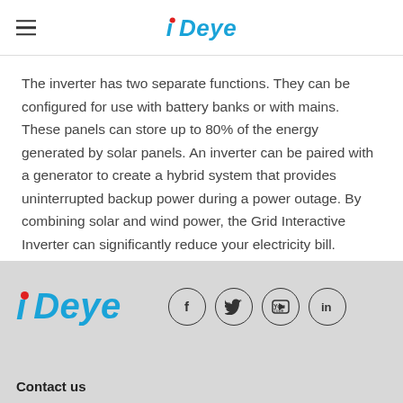Deye
The inverter has two separate functions. They can be configured for use with battery banks or with mains. These panels can store up to 80% of the energy generated by solar panels. An inverter can be paired with a generator to create a hybrid system that provides uninterrupted backup power during a power outage. By combining solar and wind power, the Grid Interactive Inverter can significantly reduce your electricity bill.
[Figure (logo): Deye logo in footer with social media icons (Facebook, Twitter, YouTube, LinkedIn)]
Contact us